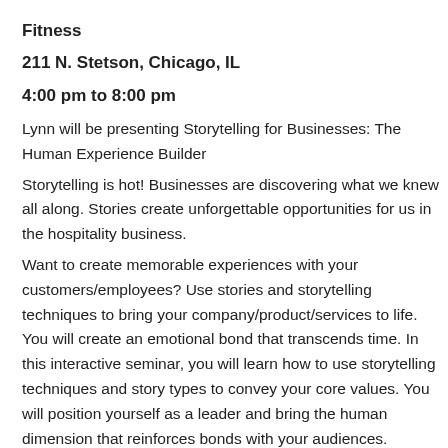Fitness
211 N. Stetson, Chicago, IL
4:00 pm to 8:00 pm
Lynn will be presenting Storytelling for Businesses: The Human Experience Builder
Storytelling is hot! Businesses are discovering what we knew all along. Stories create unforgettable opportunities for us in the hospitality business.
Want to create memorable experiences with your customers/employees? Use stories and storytelling techniques to bring your company/product/services to life. You will create an emotional bond that transcends time. In this interactive seminar, you will learn how to use storytelling techniques and story types to convey your core values. You will position yourself as a leader and bring the human dimension that reinforces bonds with your audiences.